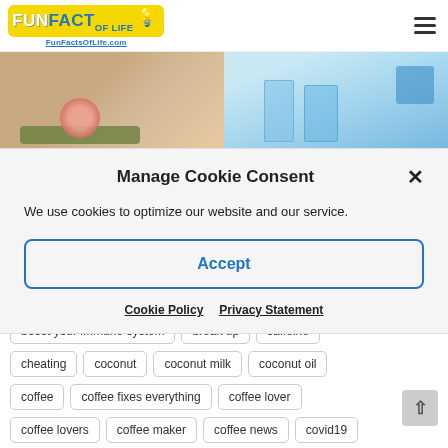FunFacts of Life - FunFactsOfLife.com
[Figure (photo): Two side-by-side hero images: left shows a hand with a pink flower on a green plate, right shows blue glassware and containers]
Manage Cookie Consent
We use cookies to optimize our website and our service.
Accept
Cookie Policy   Privacy Statement
boost your immune system   break up   caffeine
cheating   coconut   coconut milk   coconut oil
coffee   coffee fixes everything   coffee lover
coffee lovers   coffee maker   coffee news   covid19